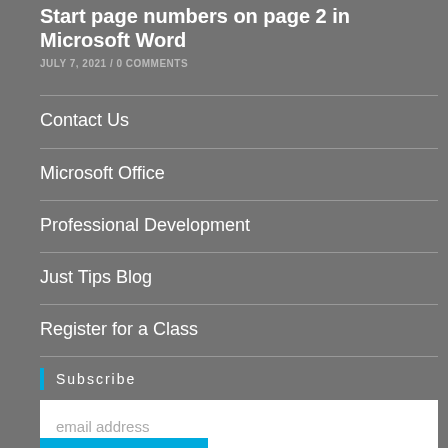Start page numbers on page 2 in Microsoft Word
JULY 7, 2021 /  0 COMMENTS
Contact Us
Microsoft Office
Professional Development
Just Tips Blog
Register for a Class
Subscribe
email address
SUBSCRIBE